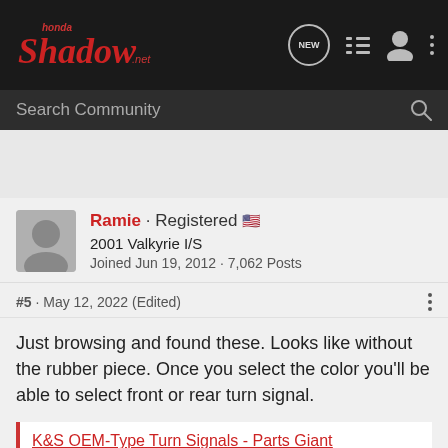HondaShadow.net
Search Community
Ramie · Registered 🇺🇸
2001 Valkyrie I/S
Joined Jun 19, 2012 · 7,062 Posts
#5 · May 12, 2022 (Edited)
Just browsing and found these. Looks like without the rubber piece. Once you select the color you'll be able to select front or rear turn signal.
K&S OEM-Type Turn Signals - Parts Giant
Buy K&S OEM-Type Turn Signals starting at $15.78 plus free